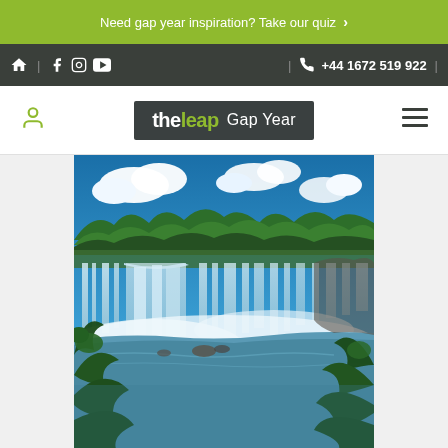Need gap year inspiration? Take our quiz >
| f ig yt | +44 1672 519 922 |
[Figure (logo): The Leap Gap Year logo on dark background]
[Figure (photo): Iguazu Falls waterfall panorama with blue sky and tropical vegetation]